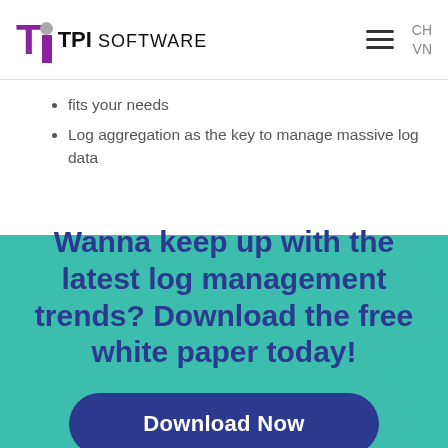TPI SOFTWARE | CH VN
fits your needs
Log aggregation as the key to manage massive log data
Wanna keep up with the latest log management trends? Download the free white paper today!
Download Now